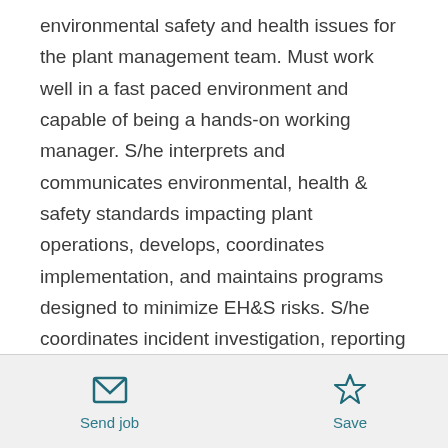environmental safety and health issues for the plant management team. Must work well in a fast paced environment and capable of being a hands-on working manager. S/he interprets and communicates environmental, health & safety standards impacting plant operations, develops, coordinates implementation, and maintains programs designed to minimize EH&S risks. S/he coordinates incident investigation, reporting and follow-up with other plant functions, initiates follow-up action and communication and maintains appropriate files and records in
Send job   Save